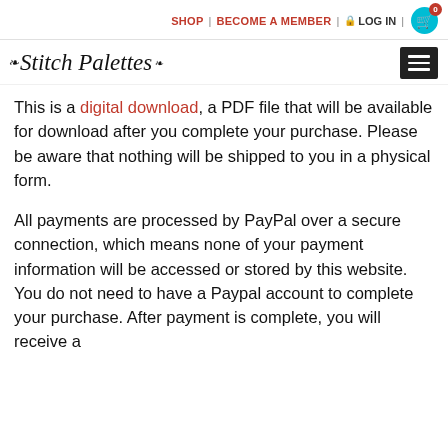SHOP | BECOME A MEMBER | LOG IN | 0
[Figure (logo): Stitch Palettes logo with decorative script font and small leaf/floral ornament, plus hamburger menu icon on the right]
This is a digital download, a PDF file that will be available for download after you complete your purchase. Please be aware that nothing will be shipped to you in a physical form.
All payments are processed by PayPal over a secure connection, which means none of your payment information will be accessed or stored by this website. You do not need to have a Paypal account to complete your purchase. After payment is complete, you will receive a